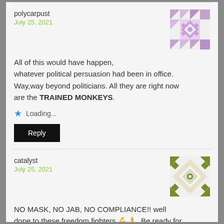polycarpust
July 25, 2021
[Figure (illustration): Purple geometric quilt-pattern avatar for user polycarpust]
All of this would have happen, whatever political persuasion had been in office. Way,way beyond politicians. All they are right now are the TRAINED MONKEYS.
Loading...
Reply
catalyst
July 25, 2021
[Figure (illustration): Olive/dark yellow geometric quilt-pattern avatar for user catalyst]
NO MASK, NO JAB, NO COMPLIANCE!! well done to these freedom fighters 💪🙏. Be ready for Jesus's second return people, spread the word, and amen 👆